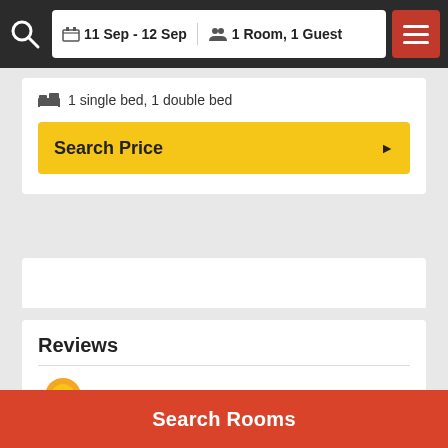11 Sep - 12 Sep  |  1 Room, 1 Guest
1 single bed, 1 double bed
Search Price
Reviews
Wonderful Family Accommodation
Best Rating in city
the size of the room, location proximity to key sight seeing places, the lady an.
Search Rooms